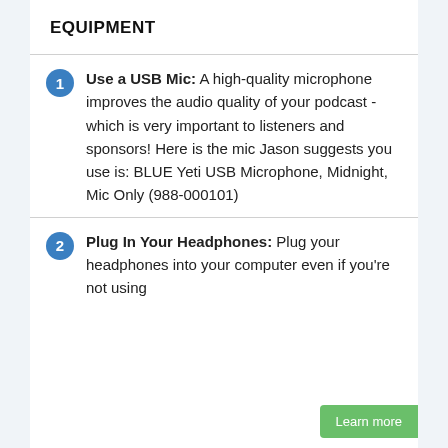EQUIPMENT
Use a USB Mic: A high-quality microphone improves the audio quality of your podcast - which is very important to listeners and sponsors! Here is the mic Jason suggests you use is: BLUE Yeti USB Microphone, Midnight, Mic Only (988-000101)
Plug In Your Headphones: Plug your headphones into your computer even if you're not using